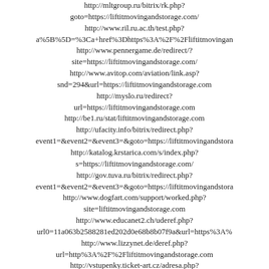http://mltgroup.ru/bitrix/rk.php?goto=https://liftitmovingandstorage.com/
http://www.ril.ru.ac.th/test.php?a%5B%5D=%3Ca+href%3Dhttps%3A%2F%2Fliftitmovingandstorage.com
http://www.pennergame.de/redirect/?site=https://liftitmovingandstorage.com/
http://www.avitop.com/aviation/link.asp?snd=294&url=https://liftitmovingandstorage.com
http://myslo.ru/redirect?url=https://liftitmovingandstorage.com
http://be1.ru/stat/liftitmovingandstorage.com
http://ufacity.info/bitrix/redirect.php?event1=&event2=&event3=&goto=https://liftitmovingandstorage.com
http://katalog.krstarica.com/s/index.php?s=https://liftitmovingandstorage.com/
http://gov.tuva.ru/bitrix/redirect.php?event1=&event2=&event3=&goto=https://liftitmovingandstorage.com
http://www.dogfart.com/support/worked.php?site=liftitmovingandstorage.com
http://www.educanet2.ch/uderef.php?url0=11a063b2588281ed202d0e68b8b07f9a&url=https%3A%2F%2Fliftitmovingandstorage.com
http://www.lizzynet.de/deref.php?url=http%3A%2F%2Fliftitmovingandstorage.com
http://vstupenky.ticket-art.cz/adresa.php?url=https://liftitmovingandstorage.com/
http://therisetothetop.com/redirect.php?